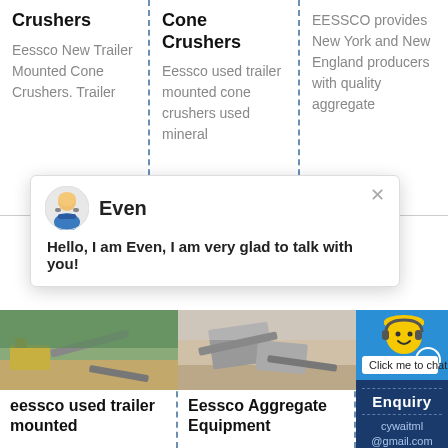Crushers
Eessco New Trailer Mounted Cone Crushers. Trailer
Cone Crushers
Eessco used trailer mounted cone crushers used mineral
EESSCO provides New York and New England producers with quality aggregate
[Figure (screenshot): Chat popup with avatar of a person with headset, name 'Even', and message: Hello, I am Even, I am very glad to talk with you!]
[Figure (photo): Aerial/ground view of a quarry with yellow mining equipment]
eessco used trailer mounted
[Figure (photo): Mining/aggregate equipment site with conveyor belts]
Eessco Aggregate Equipment
[Figure (infographic): Smiley face with hard hat and badge showing '1', with 'Click me to chat' button]
Enquiry
cywaitml@gmail.com